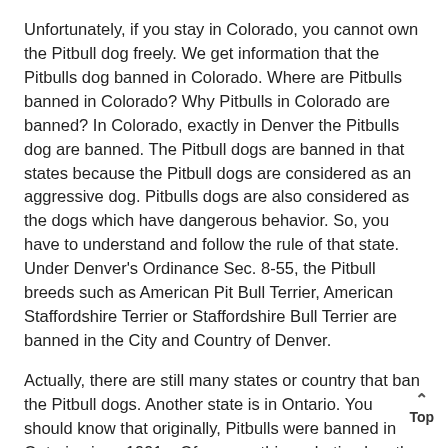Unfortunately, if you stay in Colorado, you cannot own the Pitbull dog freely. We get information that the Pitbulls dog banned in Colorado. Where are Pitbulls banned in Colorado? Why Pitbulls in Colorado are banned? In Colorado, exactly in Denver the Pitbulls dog are banned. The Pitbull dogs are banned in that states because the Pitbull dogs are considered as an aggressive dog. Pitbulls dogs are also considered as the dogs which have dangerous behavior. So, you have to understand and follow the rule of that state. Under Denver's Ordinance Sec. 8-55, the Pitbull breeds such as American Pit Bull Terrier, American Staffordshire Terrier or Staffordshire Bull Terrier are banned in the City and Country of Denver.
Actually, there are still many states or country that ban the Pitbull dogs. Another state is in Ontario. You should know that originally, Pitbulls were banned in Ontario since 1991s. Of course, this probation has the goals. One of the goals is to stamp out illegal dog fighting. The Pitbull dogs are also banned in Ontario because the Pitbull dogs are considered as an aggressive dog and have dangerous behavior. This dog law which bans specific canine part of the Dog Owners' Liability Act in Ontario.